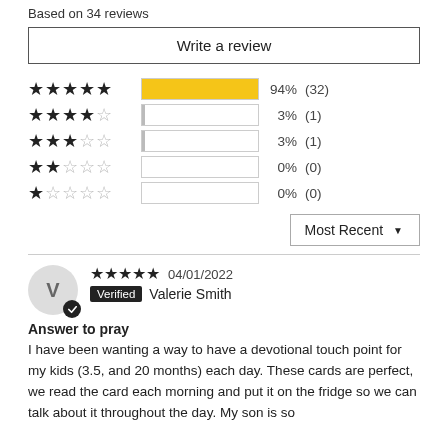Based on 34 reviews
Write a review
[Figure (bar-chart): Star rating distribution]
Most Recent
V  04/01/2022  Verified  Valerie Smith
Answer to pray
I have been wanting a way to have a devotional touch point for my kids (3.5, and 20 months) each day. These cards are perfect, we read the card each morning and put it on the fridge so we can talk about it throughout the day. My son is so